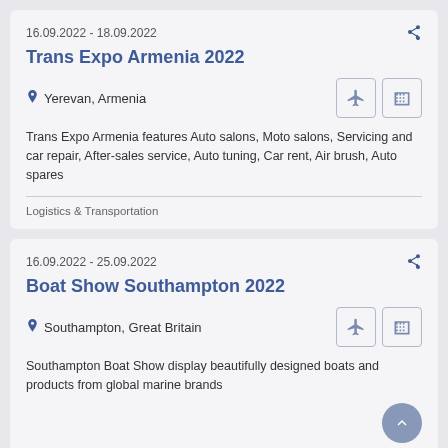16.09.2022 - 18.09.2022
Trans Expo Armenia 2022
Yerevan, Armenia
Trans Expo Armenia features Auto salons, Moto salons, Servicing and car repair, After-sales service, Auto tuning, Car rent, Air brush, Auto spares
Logistics & Transportation
16.09.2022 - 25.09.2022
Boat Show Southampton 2022
Southampton, Great Britain
Southampton Boat Show display beautifully designed boats and products from global marine brands
Filters (2)